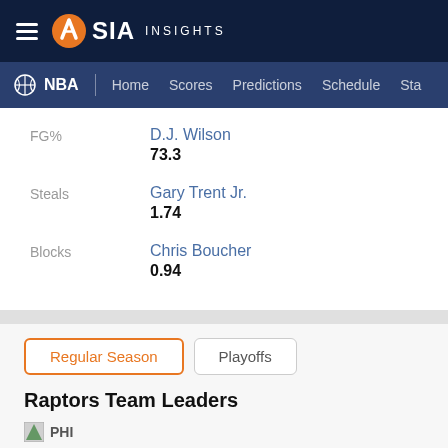SIA INSIGHTS
NBA | Home Scores Predictions Schedule Sta
FG%
D.J. Wilson
73.3
Steals
Gary Trent Jr.
1.74
Blocks
Chris Boucher
0.94
Regular Season | Playoffs
Raptors Team Leaders
PHI
Points
Joel Embiid